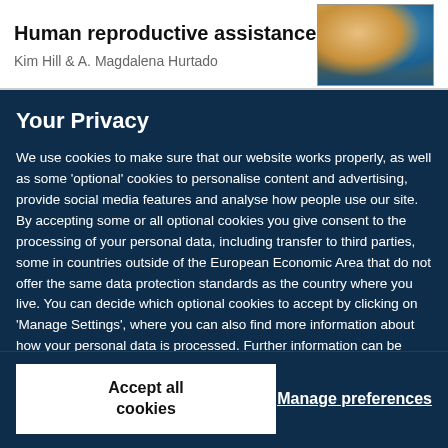Human reproductive assistance
Kim Hill & A. Magdalena Hurtado
[Figure (photo): Photo of two people, appears to be a healthcare or field research setting with warm tones]
Your Privacy
We use cookies to make sure that our website works properly, as well as some 'optional' cookies to personalise content and advertising, provide social media features and analyse how people use our site. By accepting some or all optional cookies you give consent to the processing of your personal data, including transfer to third parties, some in countries outside of the European Economic Area that do not offer the same data protection standards as the country where you live. You can decide which optional cookies to accept by clicking on 'Manage Settings', where you can also find more information about how your personal data is processed. Further information can be found in our privacy policy.
Accept all cookies
Manage preferences